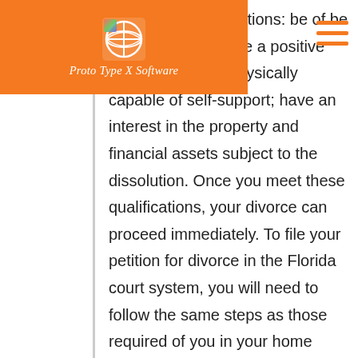[Figure (logo): Proto Type X Software logo: orange rectangle with globe icon and italic white text 'Proto Type X Software']
mandatory qualifications: be of be of sound mind; have a positive income level; be physically capable of self-support; have an interest in the property and financial assets subject to the dissolution. Once you meet these qualifications, your divorce can proceed immediately. To file your petition for divorce in the Florida court system, you will need to follow the same steps as those required of you in your home state. This includes: filing the appropriate petitions with the court; attending any required divorce classes; and fulfilling all requirements of Florida's divorce code. As